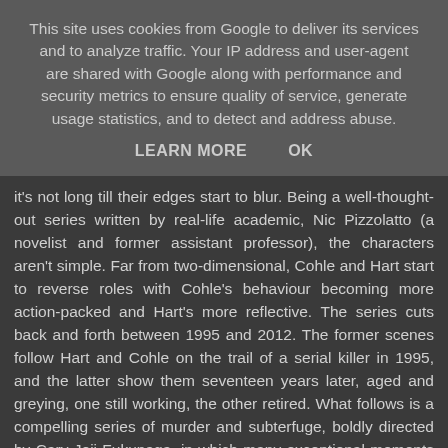This site uses cookies from Google to deliver its services and to analyze traffic. Your IP address and user-agent are shared with Google along with performance and security metrics to ensure quality of service, generate usage statistics, and to detect and address abuse.
LEARN MORE    OK
it's not long till their edges start to blur. Being a well-thought-out series written by real-life academic, Nic Pizzolatto (a novelist and former assistant professor), the characters aren't simple. Far from two-dimensional, Cohle and Hart start to reverse roles with Cohle's behaviour becoming more action-packed and Hart's more reflective. The series cuts back and forth between 1995 and 2012. The former scenes follow Hart and Cohle on the trail of a serial killer in 1995, and the latter show them seventeen years later, aged and greying, one still working, the other retired. What follows is a compelling series of murder and subterfuge, boldly directed by Cary Joji Fukunaga, in which many exceptional moments and scenes stand out.